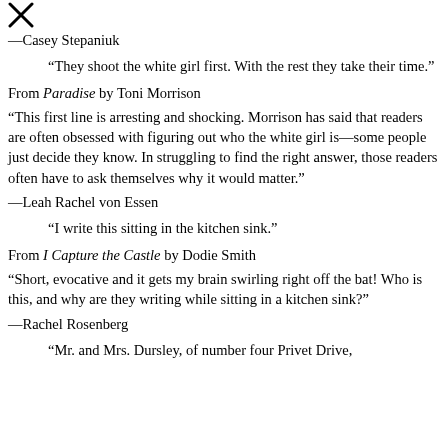[Figure (other): X mark / close symbol at top left corner]
—Casey Stepaniuk
“They shoot the white girl first. With the rest they take their time.”
From Paradise by Toni Morrison
“This first line is arresting and shocking. Morrison has said that readers are often obsessed with figuring out who the white girl is—some people just decide they know. In struggling to find the right answer, those readers often have to ask themselves why it would matter.”
—Leah Rachel von Essen
“I write this sitting in the kitchen sink.”
From I Capture the Castle by Dodie Smith
“Short, evocative and it gets my brain swirling right off the bat! Who is this, and why are they writing while sitting in a kitchen sink?”
—Rachel Rosenberg
“Mr. and Mrs. Dursley, of number four Privet Drive,